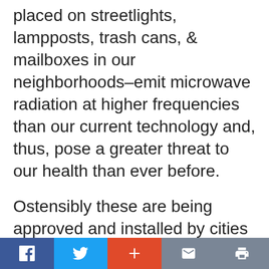placed on streetlights, lampposts, trash cans, & mailboxes in our neighborhoods–emit microwave radiation at higher frequencies than our current technology and, thus, pose a greater threat to our health than ever before.
Ostensibly these are being approved and installed by cities in response to consumer demand for faster internet service. But 5G promises “fast” and delivers “unsafe” in its place. Theodora Scarato is the Executive Director of the Environmental Health Trust (EHT), one of the leading environmental health organization working on 5G, small cells
Facebook | Twitter | + | Mail | Print